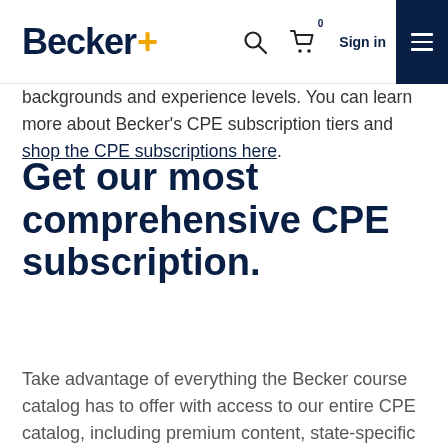Becker. [search icon] [cart icon] 0 Sign in [menu]
backgrounds and experience levels. You can learn more about Becker's CPE subscription tiers and shop the CPE subscriptions here.
Get our most comprehensive CPE subscription.
Take advantage of everything the Becker course catalog has to offer with access to our entire CPE catalog, including premium content, state-specific ethics and industry-specific courses.